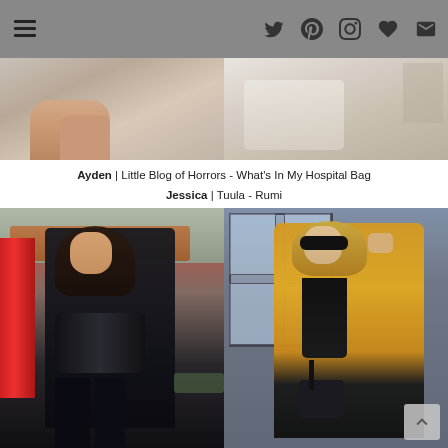Navigation menu and social icons (Twitter, Pinterest, Instagram, Heart/Bloglovin, Email)
[Figure (photo): Two cropped fashion/lifestyle photos at top of page — left shows a close-up of hands/clothing, right shows a person in a cream/beige outfit]
Ayden | Little Blog of Horrors - What's In My Hospital Bag
Jessica | Tuula - Rumi
[Figure (photo): Left: woman in black ribbed long-sleeve top, black vinyl/PVC mini skirt, black over-the-knee boots, carrying a black bag, posing near a red post box in a village setting. Right: woman in a yellow double-breasted coat over a black turtleneck with black jeans, wearing large sunglasses and carrying a black bag, posing in front of a modern building with large windows.]